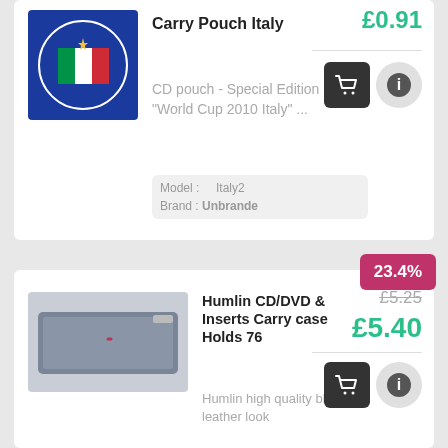Carry Pouch Italy
CD pouch - Special Edition "World Cup 2010 Italy" ...
Model : Italy2
Brand : Unbrande
£0.91
Humlin CD/DVD & Inserts Carry case Holds 76
Humlin high quality black leather look
23.4%
£5.25
£5.40